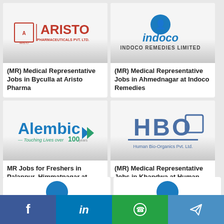[Figure (logo): Aristo Pharmaceuticals Pvt. Ltd. logo with red text and square icon]
(MR) Medical Representative Jobs in Byculla at Aristo Pharma
[Figure (logo): Indoco Remedies Limited logo with blue circular figure icon and blue text]
(MR) Medical Representative Jobs in Ahmednagar at Indoco Remedies
[Figure (logo): Alembic pharmaceutical logo with blue text 'Alembic' and tagline 'Touching Lives over 100 years']
MR Jobs for Freshers in Palanpur, Himmatnagar at Alembic pharmaceutical
[Figure (logo): Human Bio-Organics Pvt. Ltd. (HBO) logo with blue bold letters HBO and company name below]
(MR) Medical Representative Jobs in Khandwa at Human Bio Organics